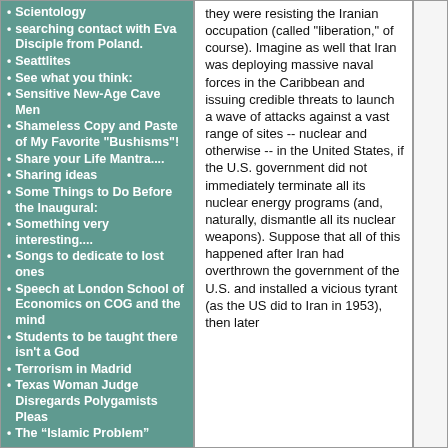Scientology
searching contact with Eva Disciple from Poland.
Seattlites
See what you think:
Sensitive New-Age Cave Men
Shameless Copy and Paste of My Favorite "Bushisms"!
Share your Life Mantra....
Sharing ideas
Some Things to Do Before the Inaugural:
Something very interesting....
Songs to dedicate to lost ones
Speech at London School of Economics on COG and the mind
Students to be taught there isn't a God
Terrorism in Madrid
Texas Woman Judge Disregards Polygamists Pleas
The “Islamic Problem”
they were resisting the Iranian occupation (called "liberation," of course). Imagine as well that Iran was deploying massive naval forces in the Caribbean and issuing credible threats to launch a wave of attacks against a vast range of sites -- nuclear and otherwise -- in the United States, if the U.S. government did not immediately terminate all its nuclear energy programs (and, naturally, dismantle all its nuclear weapons). Suppose that all of this happened after Iran had overthrown the government of the U.S. and installed a vicious tyrant (as the US did to Iran in 1953), then later